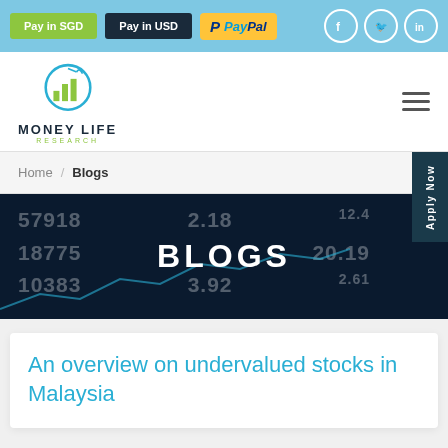Pay in SGD | Pay in USD | PayPal | Facebook | Twitter | LinkedIn
[Figure (logo): Money Life Research logo with circular bar chart icon]
MONEY LIFE RESEARCH
Home / Blogs
[Figure (photo): Hero banner with stock market numbers and BLOGS text overlay]
An overview on undervalued stocks in Malaysia